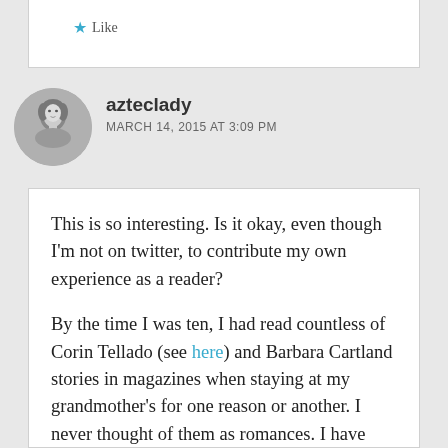Like
azteclady
MARCH 14, 2015 AT 3:09 PM
This is so interesting. Is it okay, even though I'm not on twitter, to contribute my own experience as a reader?

By the time I was ten, I had read countless of Corin Tellado (see here) and Barbara Cartland stories in magazines when staying at my grandmother's for one reason or another. I never thought of them as romances. I have always marked the beginning of my addiction to romance novels as my reading, at 11, of EM Hull's